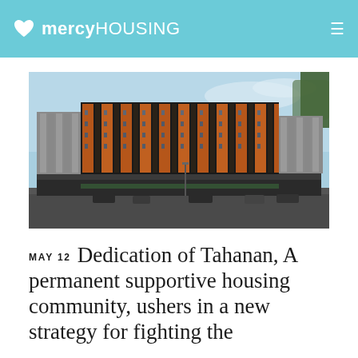mercy HOUSING
[Figure (photo): Modern multi-story building with distinctive corrugated copper/rust-colored vertical panels on facade, photographed from street level on a clear day.]
MAY 12  Dedication of Tahanan, A permanent supportive housing community, ushers in a new strategy for fighting the